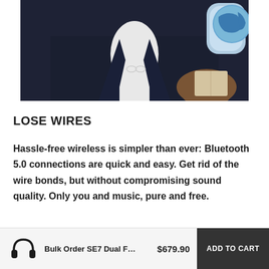[Figure (photo): A person wearing a dark navy jacket with a white shirt underneath, sitting near an airplane window. A globe map is partially visible in the upper right. The person appears to be holding something.]
LOSE WIRES
Hassle-free wireless is simpler than ever: Bluetooth 5.0 connections are quick and easy. Get rid of the wire bonds, but without compromising sound quality. Only you and music, pure and free.
Bulk Order  SE7 Dual F…   $679.90   ADD TO CART